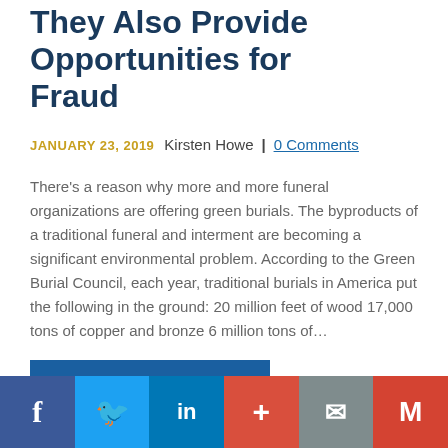They Also Provide Opportunities for Fraud
JANUARY 23, 2019   Kirsten Howe  |  0 Comments
There’s a reason why more and more funeral organizations are offering green burials. The byproducts of a traditional funeral and interment are becoming a significant environmental problem. According to the Green Burial Council, each year, traditional burials in America put the following in the ground: 20 million feet of wood 17,000 tons of copper and bronze 6 million tons of…